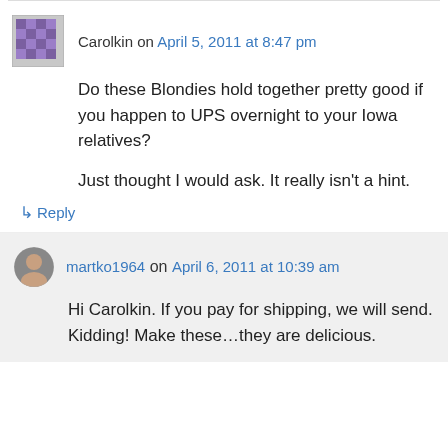Carolkin on April 5, 2011 at 8:47 pm
Do these Blondies hold together pretty good if you happen to UPS overnight to your Iowa relatives?

Just thought I would ask. It really isn't a hint.
↳ Reply
martko1964 on April 6, 2011 at 10:39 am
Hi Carolkin. If you pay for shipping, we will send. Kidding! Make these…they are delicious.